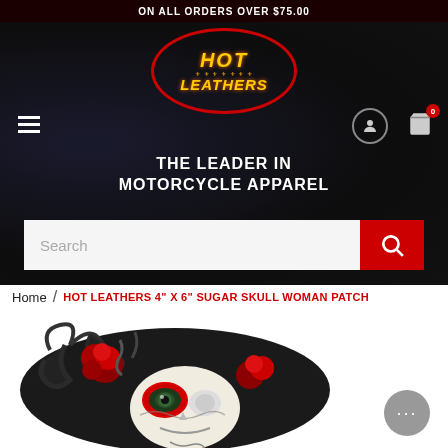ON ALL ORDERS OVER $75.00
[Figure (logo): Hot Leathers logo in red oval with yellow and orange text]
THE LEADER IN MOTORCYCLE APPAREL
Search
Home / HOT LEATHERS 4" X 6" SUGAR SKULL WOMAN PATCH
[Figure (photo): Hot Leathers 4 inch by 6 inch Sugar Skull Woman embroidered patch featuring a sugar skull woman with red roses in black hair on a dark background]